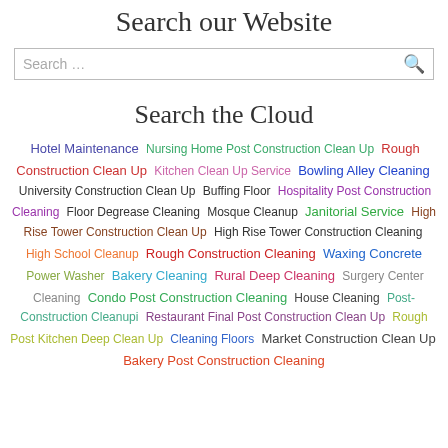Search our Website
Search ...
Search the Cloud
Hotel Maintenance Nursing Home Post Construction Clean Up Rough Construction Clean Up Kitchen Clean Up Service Bowling Alley Cleaning University Construction Clean Up Buffing Floor Hospitality Post Construction Cleaning Floor Degrease Cleaning Mosque Cleanup Janitorial Service High Rise Tower Construction Clean Up High Rise Tower Construction Cleaning High School Cleanup Rough Construction Cleaning Waxing Concrete Power Washer Bakery Cleaning Rural Deep Cleaning Surgery Center Cleaning Condo Post Construction Cleaning House Cleaning Post-Construction Cleanupi Restaurant Final Post Construction Clean Up Rough Post Kitchen Deep Clean Up Cleaning Floors Market Construction Clean Up Bakery Post Construction Cleaning